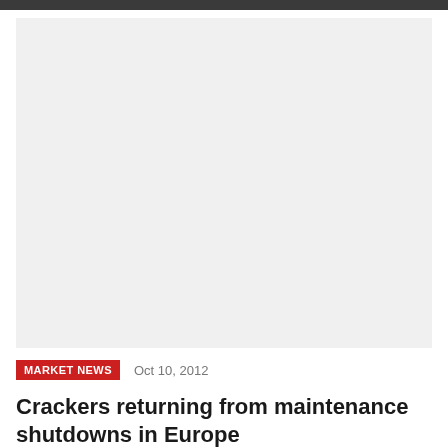[Figure (photo): Large light grey placeholder image area]
MARKET NEWS   Oct 10, 2012
Crackers returning from maintenance shutdowns in Europe